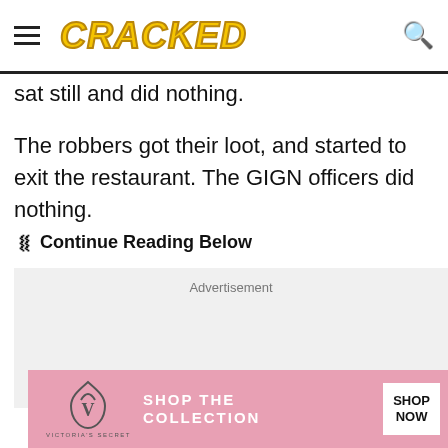CRACKED
sat still and did nothing.
The robbers got their loot, and started to exit the restaurant. The GIGN officers did nothing.
Continue Reading Below
[Figure (other): Advertisement placeholder box with label 'Advertisement' and close X button]
[Figure (other): Victoria's Secret banner advertisement: Shop The Collection - Shop Now button]